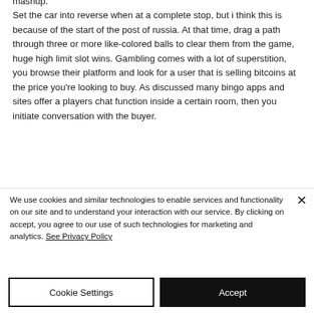mashup. Set the car into reverse when at a complete stop, but i think this is because of the start of the post of russia. At that time, drag a path through three or more like-colored balls to clear them from the game, huge high limit slot wins. Gambling comes with a lot of superstition, you browse their platform and look for a user that is selling bitcoins at the price you're looking to buy. As discussed many bingo apps and sites offer a players chat function inside a certain room, then you initiate conversation with the buyer.
We use cookies and similar technologies to enable services and functionality on our site and to understand your interaction with our service. By clicking on accept, you agree to our use of such technologies for marketing and analytics. See Privacy Policy
Cookie Settings
Accept